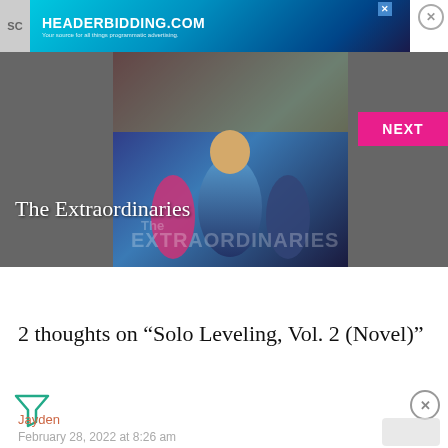[Figure (screenshot): Advertisement banner for headerbidding.com with teal/blue gradient background. Text reads HEADERBIDDING.COM - Your source for all things programmatic advertising.]
[Figure (photo): Book cover for The Extraordinaries showing illustrated characters in superhero/sci-fi style. Title 'The Extraordinaries' overlaid in white serif text. A pink NEXT button appears on the right side.]
2 thoughts on “Solo Leveling, Vol. 2 (Novel)”
Jayden
February 28, 2022 at 8:26 am